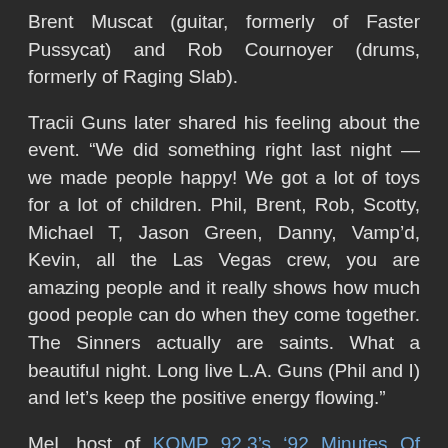Brent Muscat (guitar, formerly of Faster Pussycat) and Rob Cournoyer (drums, formerly of Raging Slab).
Tracii Guns later shared his feeling about the event. “We did something right last night — we made people happy! We got a lot of toys for a lot of children. Phil, Brent, Rob, Scotty, Michael T, Jason Green, Danny, Vamp’d, Kevin, all the Las Vegas crew, you are amazing people and it really shows how much good people can do when they come together. The Sinners actually are saints. What a beautiful night. Long live L.A. Guns (Phil and I) and let’s keep the positive energy flowing.”
Mel, host of KOMP 92.3’s ‘92 Minutes Of Hair’, heard every Sunday morning from 8-10am, attended the show and sent Sleaze Roxx the